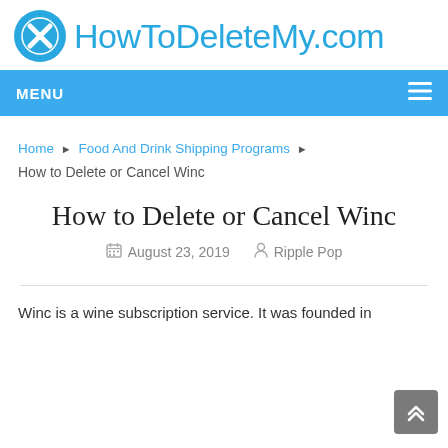[Figure (logo): HowToDeleteMy.com website logo with blue circle X icon and blue text]
MENU
Home ▶ Food And Drink Shipping Programs ▶ How to Delete or Cancel Winc
How to Delete or Cancel Winc
August 23, 2019   Ripple Pop
Winc is a wine subscription service. It was founded in